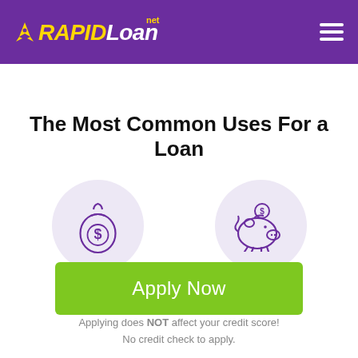RAPID Loan .net
The Most Common Uses For a Loan
[Figure (illustration): Two circular icons on light purple backgrounds: a money bag with a dollar sign on the left, and a piggy bank with a dollar coin on the right — both drawn in purple outline style.]
Apply Now
Applying does NOT affect your credit score! No credit check to apply.